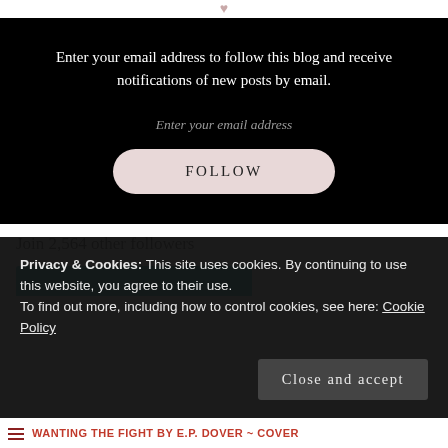Enter your email address to follow this blog and receive notifications of new posts by email.
Enter your email address
FOLLOW
Join 2,564 other followers
Privacy & Cookies: This site uses cookies. By continuing to use this website, you agree to their use.
To find out more, including how to control cookies, see here: Cookie Policy
Close and accept
WANTING THE FIGHT BY E.P. DOVER ~ COVER REVIEW